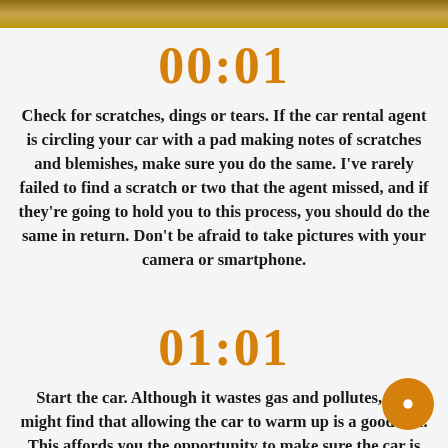[Figure (photo): Top image strip showing food or scenery]
00:01
Check for scratches, dings or tears. If the car rental agent is circling your car with a pad making notes of scratches and blemishes, make sure you do the same. I've rarely failed to find a scratch or two that the agent missed, and if they're going to hold you to this process, you should do the same in return. Don't be afraid to take pictures with your camera or smartphone.
01:01
Start the car. Although it wastes gas and pollutes, you might find that allowing the car to warm up is a good call. This affords you the opportunity to make sure the car is running fairly well, with no strange noises. Although most people take a good look for scratches and dings so they